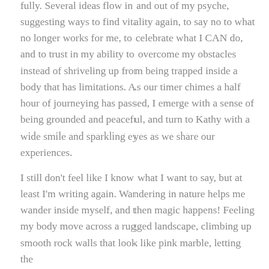fully. Several ideas flow in and out of my psyche, suggesting ways to find vitality again, to say no to what no longer works for me, to celebrate what I CAN do, and to trust in my ability to overcome my obstacles instead of shriveling up from being trapped inside a body that has limitations. As our timer chimes a half hour of journeying has passed, I emerge with a sense of being grounded and peaceful, and turn to Kathy with a wide smile and sparkling eyes as we share our experiences.
I still don't feel like I know what I want to say, but at least I'm writing again. Wandering in nature helps me wander inside myself, and then magic happens! Feeling my body move across a rugged landscape, climbing up smooth rock walls that look like pink marble, letting the